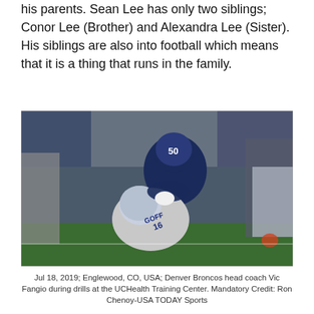his parents. Sean Lee has only two siblings; Conor Lee (Brother) and Alexandra Lee (Sister). His siblings are also into football which means that it is a thing that runs in the family.
[Figure (photo): Football action photo showing a Dallas Cowboys player (#50) tackling a Los Angeles Rams player (Goff, #16) during an NFL game.]
Jul 18, 2019; Englewood, CO, USA; Denver Broncos head coach Vic Fangio during drills at the UCHealth Training Center. Mandatory Credit: Ron Chenoy-USA TODAY Sports